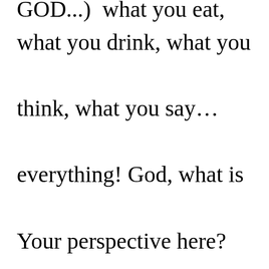GOD...) what you eat, what you drink, what you think, what you say… everything! God, what is Your perspective here? Doing to the best of our ability whatever He asks of us, then leaving the rest...